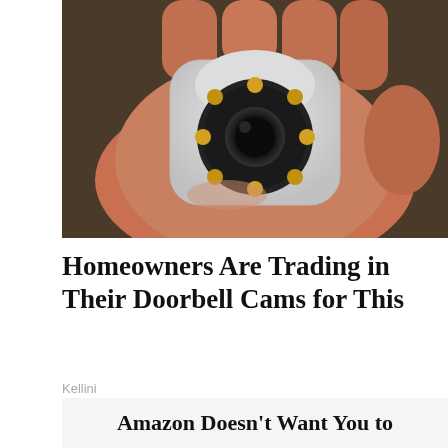[Figure (photo): A hand holding a small round white security camera with a black lens surrounded by LED lights]
Homeowners Are Trading in Their Doorbell Cams for This
Kellini
⁠Amazon Doesn't Want You to